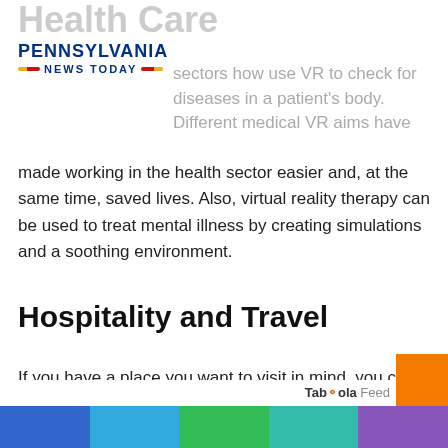Health Care
[Figure (logo): Pennsylvania News Today logo with blue text and red/yellow dashes]
sectors how use VR to check for diseases in a patient's body. Different medical VR aims have made working in the health sector easier and, at the same time, saved lives. Also, virtual reality therapy can be used to treat mental illness by creating simulations and a soothing environment.
Hospitality and Travel
If you have a place you want to visit in mind, you can do this with VR. You can have the feeling of being in several tourist
Taboola Feed